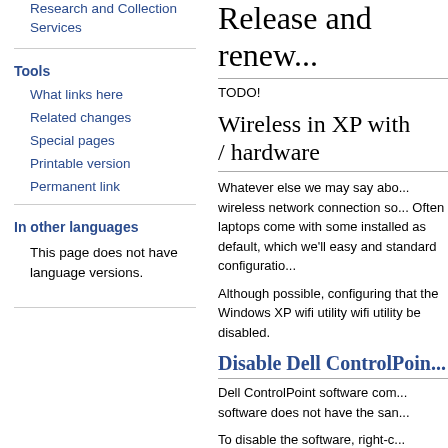Research and Collection Services
Tools
What links here
Related changes
Special pages
Printable version
Permanent link
In other languages
This page does not have language versions.
Release and renew...
TODO!
Wireless in XP with / hardware
Whatever else we may say about wireless network connection so... Often laptops come with some installed as default, which we'll easy and standard configuratio...
Although possible, configuring that the Windows XP wifi utility wifi utility be disabled.
Disable Dell ControlPoin...
Dell ControlPoint software com... software does not have the san...
To disable the software, right-c... connected by a wire). From the... on the left side. The second l...